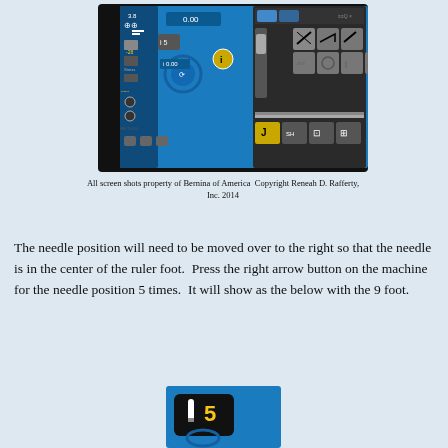[Figure (screenshot): Sewing machine touchscreen display showing stitch selection interface with blue background, various controls, stitch patterns on the right panel, and a needle position indicator showing 0.00]
All screen shots property of Bernina of America  Copyright Reneah D. Rafferty, Inc. 2014
The needle position will need to be moved over to the right so that the needle is in the center of the ruler foot.  Press the right arrow button on the machine for the needle position 5 times.  It will show as the below with the 9 foot.
[Figure (screenshot): Close-up of sewing machine display showing needle position indicator with the number 5, blue background]